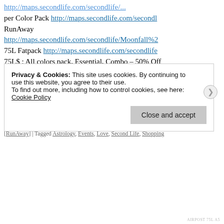per Color Pack http://maps.secondlife.com/secondl... RunAway http://maps.secondlife.com/secondlife/Moonfall%2... 75L Fatpack http://maps.secondlife.com/secondlife... 75L$ ; All colors pack, Essential, Combo – 50% Off http://maps.secondlife.com/secondlife/I%20AM%2... and Beauty 75L http://maps.secondlife.com/second... Love 75L$ per pack, 50L$ per ... Continue reading →
Posted in #SecondLife, 50% off, 75L Hair, Besom, Bold & Beauty, Des... in second life, Exclusive, fat pack, hair, Hair Event, Hair Sale, Hair S... release, Pr!tty, Sale, Saturday Sale, Second Life, Secondlife, Secondli... [RunAway] | Tagged Astrology, Events, Love, Second Life, Shopping
Privacy & Cookies: This site uses cookies. By continuing to use this website, you agree to their use.
To find out more, including how to control cookies, see here:
Cookie Policy